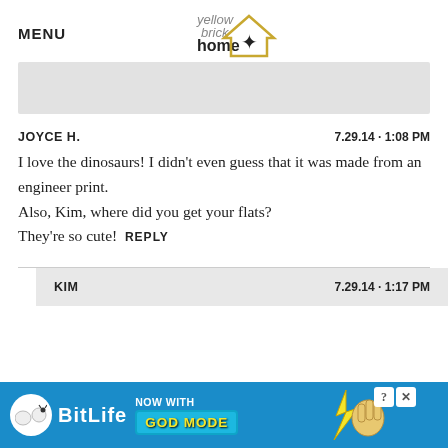MENU | yellow brick home
[Figure (other): Advertisement banner placeholder (gray rectangle)]
JOYCE H.   7.29.14 · 1:08 PM
I love the dinosaurs! I didn't even guess that it was made from an engineer print.
Also, Kim, where did you get your flats?
They're so cute!  REPLY
KIM   7.29.14 · 1:17 PM
[Figure (infographic): BitLife advertisement banner: NOW WITH GOD MODE]